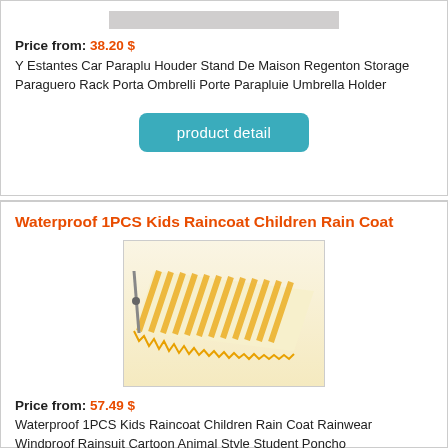[Figure (photo): Product image thumbnail - umbrella holder product, gray/white background]
Price from: 38.20 $
Y Estantes Car Paraplu Houder Stand De Maison Regenton Storage Paraguero Rack Porta Ombrelli Porte Parapluie Umbrella Holder
product detail
Waterproof 1PCS Kids Raincoat Children Rain Coat
[Figure (photo): Product image - yellow and white striped retractable awning]
Price from: 57.49 $
Waterproof 1PCS Kids Raincoat Children Rain Coat Rainwear Windproof Rainsuit Cartoon Animal Style Student Poncho